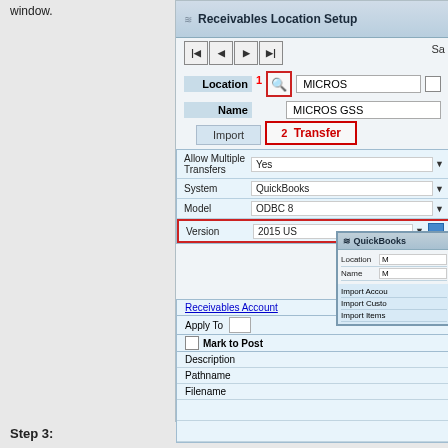window.
[Figure (screenshot): Receivables Location Setup dialog showing Location field with search icon (step 1), MICROS value, MICROS GSS Name, Import and Transfer tabs with Transfer tab highlighted (step 2), Allow Multiple Transfers Yes, System QuickBooks, Model ODBC 8, Version 2015 US fields, Receivables Account link, Apply To, Mark to Post checkbox, Description, Pathname, Filename fields, and a QuickBooks overlay window]
Step 3: